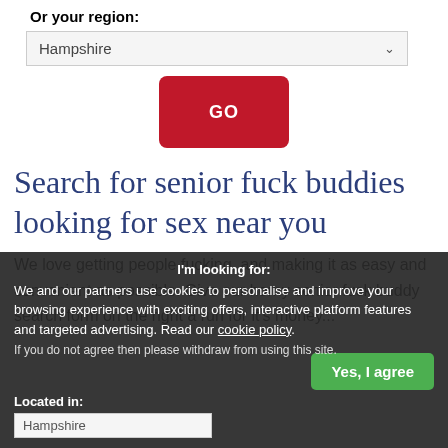Or your region:
Hampshire
GO
Search for senior fuck buddies looking for sex near you
We love getting people fucking, and making it as easy and convenient as possible. Give our horny senior fuck buddy search form on the right a run for it's money...
I'm looking for:
We and our partners use cookies to personalise and improve your browsing experience with exciting offers, interactive platform features and targeted advertising. Read our cookie policy.
If you do not agree then please withdraw from using this site.
Yes, I agree
Located in:
Hampshire